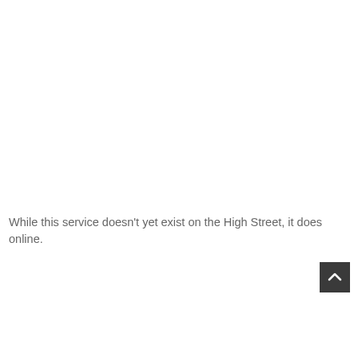While this service doesn't yet exist on the High Street, it does online.
[Figure (other): Back to top button — dark square with white upward chevron arrow]